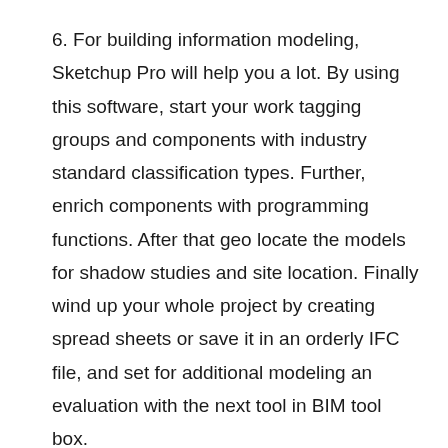6. For building information modeling, Sketchup Pro will help you a lot. By using this software, start your work tagging groups and components with industry standard classification types. Further, enrich components with programming functions. After that geo locate the models for shadow studies and site location. Finally wind up your whole project by creating spread sheets or save it in an orderly IFC file, and set for additional modeling an evaluation with the next tool in BIM tool box.
7. In Sketchup pro 3D warehouse, the